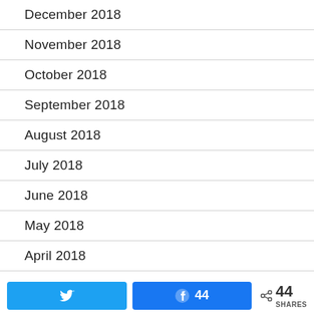December 2018
November 2018
October 2018
September 2018
August 2018
July 2018
June 2018
May 2018
April 2018
March 2018
Twitter share button, Facebook share button with 44 shares, share icon with 44 SHARES